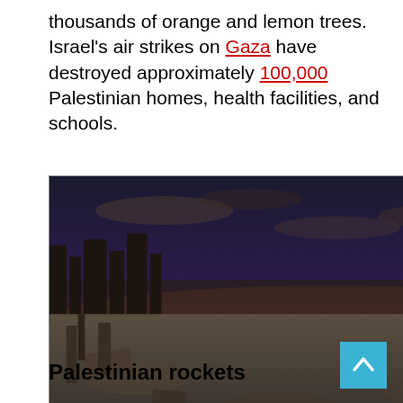thousands of orange and lemon trees. Israel's air strikes on Gaza have destroyed approximately 100,000 Palestinian homes, health facilities, and schools.
[Figure (photo): Aerial/elevated view of destroyed buildings and rubble in Gaza at dusk/sunset, with a fire burning in the foreground and people gathered around it. Orange and purple sky in background.]
Palestinian rockets